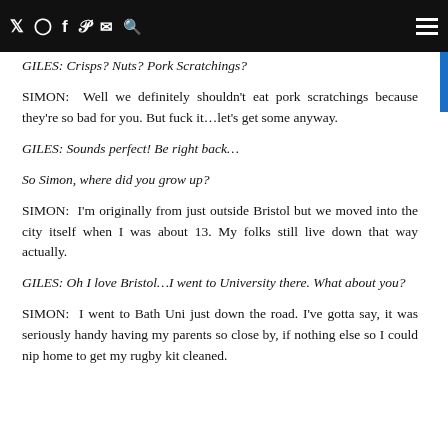SIMON: I'd love a craft beer thanks…whichever's the most local
GILES: Crisps? Nuts? Pork Scratchings?
SIMON: Well we definitely shouldn't eat pork scratchings because they're so bad for you. But fuck it…let's get some anyway.
GILES: Sounds perfect! Be right back…
So Simon, where did you grow up?
SIMON: I'm originally from just outside Bristol but we moved into the city itself when I was about 13. My folks still live down that way actually.
GILES: Oh I love Bristol…I went to University there. What about you?
SIMON: I went to Bath Uni just down the road. I've gotta say, it was seriously handy having my parents so close by, if nothing else so I could nip home to get my rugby kit cleaned.